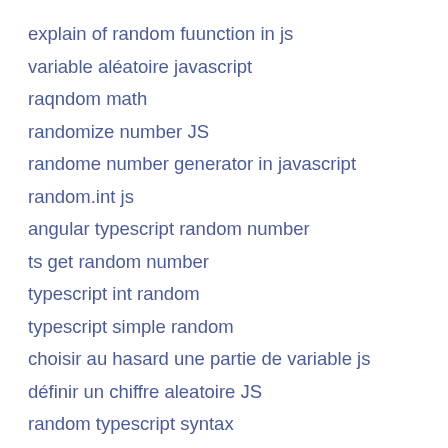explain of random fuunction in js
variable aléatoire javascript
raqndom math
randomize number JS
randome number generator in javascript
random.int js
angular typescript random number
ts get random number
typescript int random
typescript simple random
choisir au hasard une partie de variable js
définir un chiffre aleatoire JS
random typescript syntax
discordis random int generator